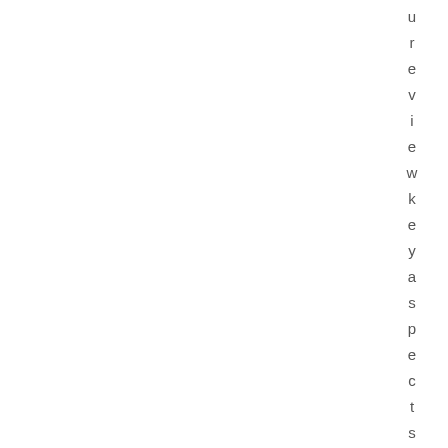u r e v i e w k e y a s p e c t s o f